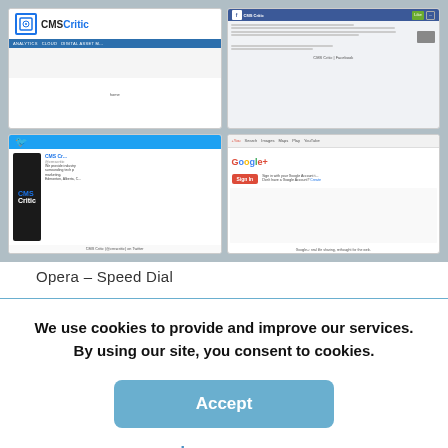[Figure (screenshot): 2x2 grid of browser screenshots: CMS Critic website, CMS Critic Facebook page, CMS Critic Twitter page, Google+ sign-in page. Opera Speed Dial layout.]
Opera – Speed Dial
We use cookies to provide and improve our services. By using our site, you consent to cookies.
Accept
Learn more